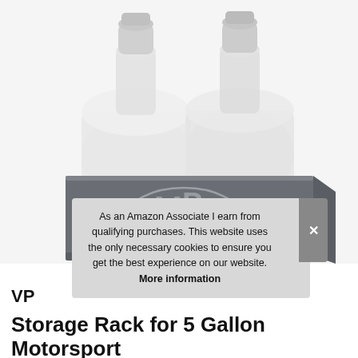[Figure (photo): VP Racing branded metal storage rack/crate holding two clear 5-gallon motorsport jugs/containers with white caps. The rack is a dark gray/charcoal colored rectangular metal box with the VP Racing logo (stylized VP with Racing script and oval) embossed on the front.]
As an Amazon Associate I earn from qualifying purchases. This website uses the only necessary cookies to ensure you get the best experience on our website. More information
VP
Storage Rack for 5 Gallon Motorsport